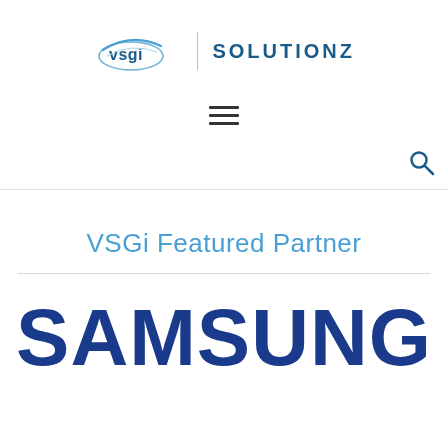[Figure (logo): VSGi Solutionz logo with swoosh graphic on the left and vertical divider followed by SOLUTIONZ text]
[Figure (other): Hamburger menu icon (three horizontal lines)]
[Figure (other): Search icon (magnifying glass) in top right corner]
VSGi Featured Partner
[Figure (logo): SAMSUNG text logo in large bold dark blue letters]